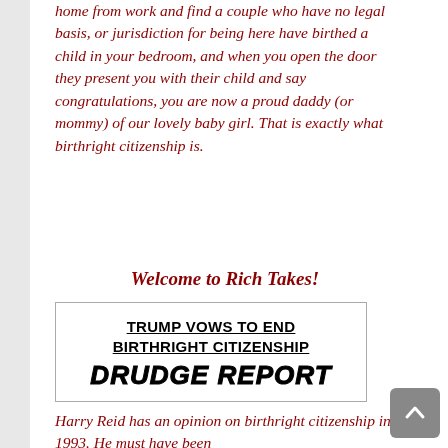home from work and find a couple who have no legal basis, or jurisdiction for being here have birthed a child in your bedroom, and when you open the door they present you with their child and say congratulations, you are now a proud daddy (or mommy) of our lovely baby girl. That is exactly what birthright citizenship is.
Welcome to Rich Takes!
[Figure (screenshot): Screenshot of a Drudge Report headline reading 'TRUMP VOWS TO END BIRTHRIGHT CITIZENSHIP' followed by the Drudge Report logo in bold italic black text.]
Harry Reid has an opinion on birthright citizenship in 1993. He must have been